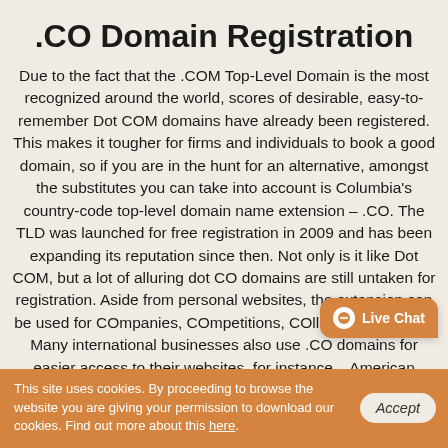.CO Domain Registration
Due to the fact that the .COM Top-Level Domain is the most recognized around the world, scores of desirable, easy-to-remember Dot COM domains have already been registered. This makes it tougher for firms and individuals to book a good domain, so if you are in the hunt for an alternative, amongst the substitutes you can take into account is Columbia's country-code top-level domain name extension – .CO. The TLD was launched for free registration in 2009 and has been expanding its reputation since then. Not only is it like Dot COM, but a lot of alluring dot CO domains are still untaken for registration. Aside from personal websites, the extension can be used for COmpanies, COmpetitions, COlleges, and so on. Many international businesses also use .CO domains for easier access to their websites, for instance – American
This site uses cookies. By proceeding to browse the website you are giving your permission to download our cookies. Find out more about this here.